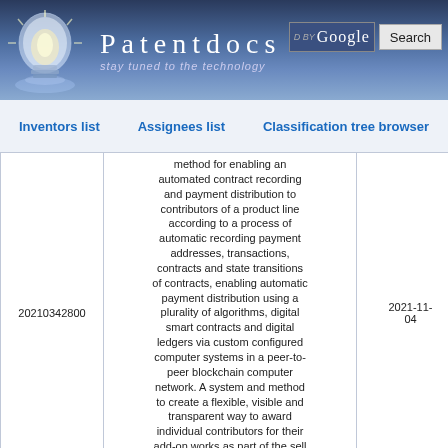[Figure (screenshot): Patentdocs website header with light bulb logo, site title 'Patentdocs', tagline 'stay tuned to the technology', Google search box and Search button]
Inventors list    Assignees list    Classification tree browser
|  | Description | Date |
| --- | --- | --- |
| 20210342800 | Method for enabling an automated contract recording and payment distribution to contributors of a product line according to a process of automatic recording payment addresses, transactions, contracts and state transitions of contracts, enabling automatic payment distribution using a plurality of algorithms, digital smart contracts and digital ledgers via custom configured computer systems in a peer-to-peer blockchain computer network. A system and method to create a flexible, visible and transparent way to award individual contributors for their add-on works as part of the sell of an enhanced product. | 2021-11-04 |
|  | SYSTEM AND APPARATUS FOR RESELLING DIGITAL MEDIA RIGHTS - In example embodiments, a system and method for managing the resale of digital media rights is provided. In example... |  |